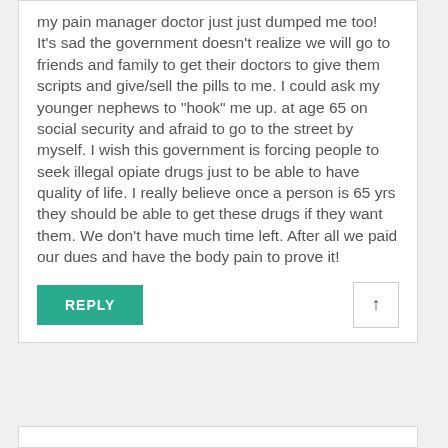my pain manager doctor just just dumped me too! It's sad the government doesn't realize we will go to friends and family to get their doctors to give them scripts and give/sell the pills to me. I could ask my younger nephews to "hook" me up. at age 65 on social security and afraid to go to the street by myself. I wish this government is forcing people to seek illegal opiate drugs just to be able to have quality of life. I really believe once a person is 65 yrs they should be able to get these drugs if they want them. We don't have much time left. After all we paid our dues and have the body pain to prove it!